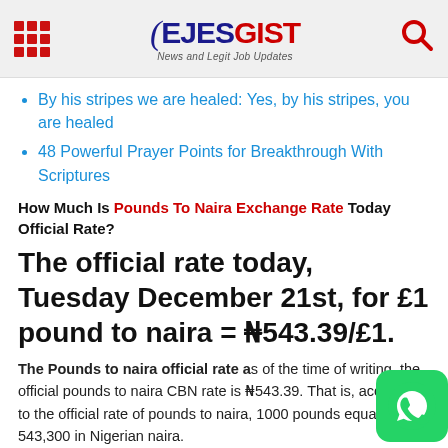EJESGIST - News and Legit Job Updates
By his stripes we are healed: Yes, by his stripes, you are healed
48 Powerful Prayer Points for Breakthrough With Scriptures
How Much Is Pounds To Naira Exchange Rate Today Official Rate?
The official rate today, Tuesday December 21st, for £1 pound to naira = ₦543.39/£1.
The Pounds to naira official rate as of the time of writing, the official pounds to naira CBN rate is ₦543.39. That is, according to the official rate of pounds to naira, 1000 pounds equals 543,300 in Nigerian naira.